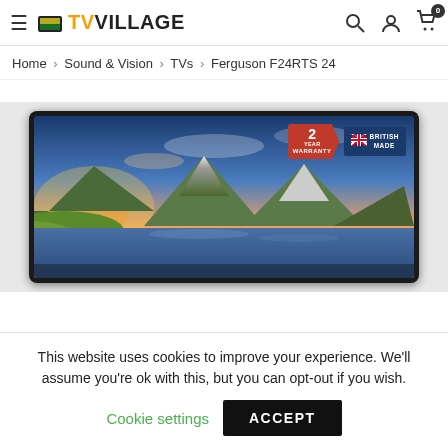TV Village — Home | Sound & Vision | TVs | Ferguson F24RTS 24
Home › Sound & Vision › TVs › Ferguson F24RTS 24
[Figure (photo): Ferguson F24RTS 24-inch TV product photo showing mountain landscape on screen, with '2 Year Warranty' and 'British Made' badges overlaid in the top-right corner of the screen.]
This website uses cookies to improve your experience. We'll assume you're ok with this, but you can opt-out if you wish.
Cookie settings    ACCEPT